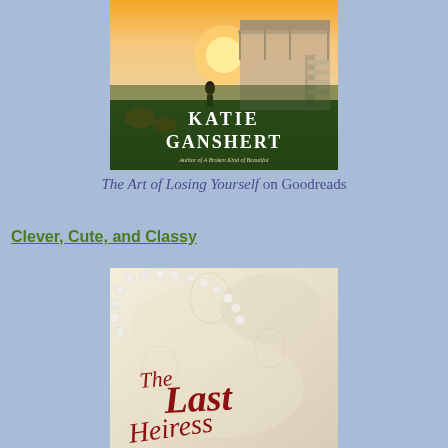[Figure (illustration): Book cover of 'The Art of Losing Yourself' by Katie Ganshert. Shows a person silhouetted against a sunset sky near a beach house with stairs. Author name 'KATIE GANSHERT' in large white letters, subtitle 'Author of A Broken Kind of Beautiful' in italic script.]
The Art of Losing Yourself on Goodreads
Clever, Cute, and Classy
[Figure (illustration): Book cover of 'The Last Heiress' showing pearls on a cream/ivory lace fabric background with the title in dark red cursive script.]